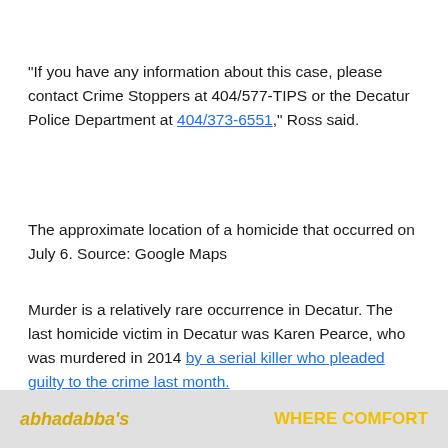“If you have any information about this case, please contact Crime Stoppers at 404/577-TIPS or the Decatur Police Department at 404/373-6551,” Ross said.
The approximate location of a homicide that occurred on July 6. Source: Google Maps
Murder is a relatively rare occurrence in Decatur. The last homicide victim in Decatur was Karen Pearce, who was murdered in 2014 by a serial killer who pleaded guilty to the crime last month.
[Figure (other): Advertisement banner with yellow text 'abhadabba's' on left and 'WHERE COMFORT' on right against a grey/photo background]